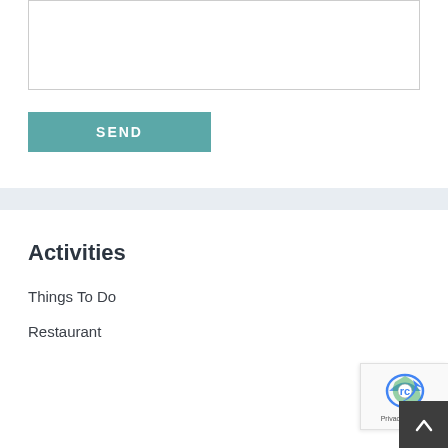[Figure (screenshot): Textarea input field with resize handle at bottom right]
SEND
Activities
Things To Do
Restaurant
[Figure (logo): reCAPTCHA badge with Privacy and Terms links]
[Figure (other): Scroll to top button with upward chevron arrow]